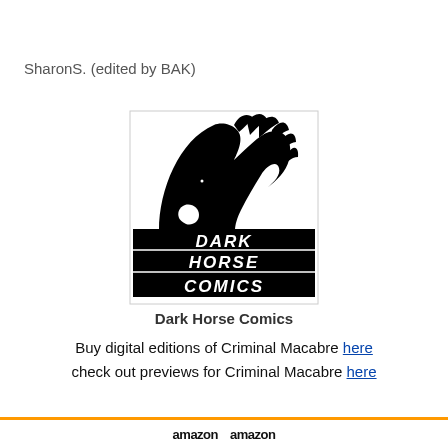SharonS. (edited by BAK)
[Figure (logo): Dark Horse Comics logo — black rearing horse head silhouette above text DARK HORSE COMICS on black bar]
Dark Horse Comics
Buy digital editions of Criminal Macabre here check out previews for Criminal Macabre here
[Figure (logo): Amazon logo repeated twice at bottom of page]